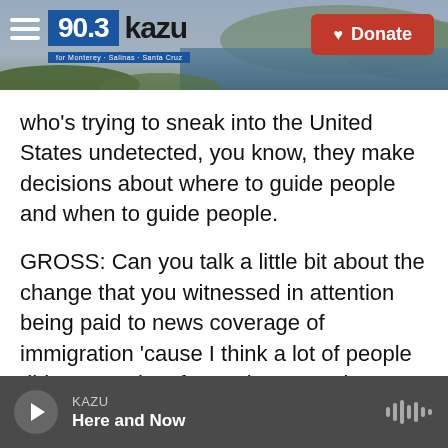[Figure (screenshot): KAZU 90.3 radio station website header with logo, hamburger menu, coastal background photo, and red Donate button]
who's trying to sneak into the United States undetected, you know, they make decisions about where to guide people and when to guide people.
GROSS: Can you talk a little bit about the change that you witnessed in attention being paid to news coverage of immigration 'cause I think a lot of people didn't pay a lot of attention. But when Trump started enforcing really harsh immigration policies, then the nation was really focused on it.
DICKERSON: That's right. I think that Trump's harsh language put this spotlight on the border that didn't
KAZU  Here and Now